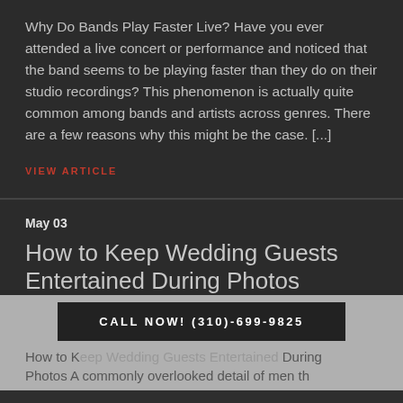Why Do Bands Play Faster Live? Have you ever attended a live concert or performance and noticed that the band seems to be playing faster than they do on their studio recordings? This phenomenon is actually quite common among bands and artists across genres. There are a few reasons why this might be the case. [...]
VIEW ARTICLE
May 03
How to Keep Wedding Guests Entertained During Photos
CALL NOW! (310)-699-9825
How to Keep Wedding Guests Entertained During Photos A commonly overlooked detail of men th